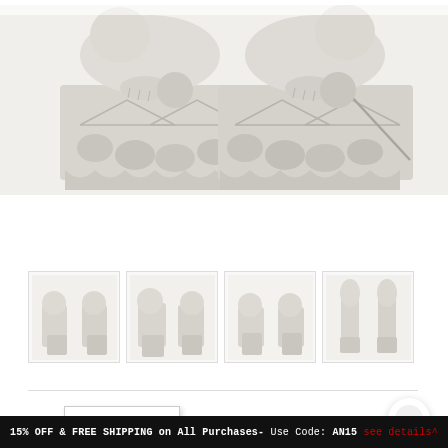[Figure (photo): Close-up photograph of two white marble/stone foo dog (guardian lion) statues showing the ornately carved bases with triangular and circular geometric relief patterns]
Enlarged Image
[Figure (photo): Thumbnail 1: Front view of pair of white foo dog statues, full body]
[Figure (photo): Thumbnail 2: Slightly angled view of pair of white foo dog statues]
[Figure (photo): Thumbnail 3: Another angle of pair of white foo dog statues]
[Figure (photo): Thumbnail 4: Side/back view of pair of white foo dog statues]
15% OFF & FREE SHIPPING on All Purchases- Use Code: AN15 see details^